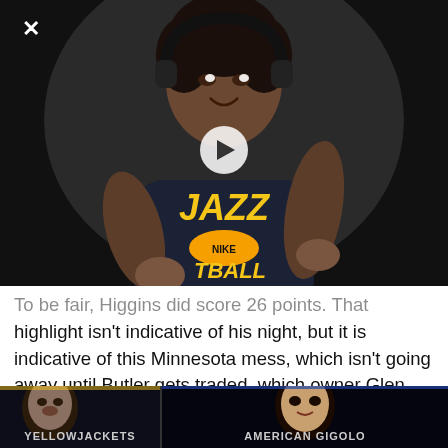[Figure (photo): Basketball player wearing a Utah Jazz jersey with headphones, smiling. Dark background. White play button overlay in center. White X close button in top-left corner.]
To be fair, Higgins did score 26 points. That highlight isn't indicative of his night, but it is indicative of this Minnesota mess, which isn't going away until Butler gets traded, which owner Glen Taylor has reiterated the team is committed to doing. Get this: Butler reportedly didn't even ride to
[Figure (screenshot): Advertisement banner at bottom showing two TV shows: Yellowjackets on the left and American Gigolo on the right, with dark promotional imagery.]